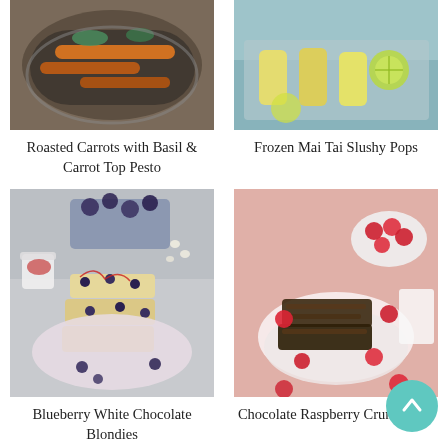[Figure (photo): Roasted carrots with herbs in a dark pan, food photography]
[Figure (photo): Frozen Mai Tai Slushy Pops with citrus slices on a tray, food photography]
Roasted Carrots with Basil & Carrot Top Pesto
Frozen Mai Tai Slushy Pops
[Figure (photo): Blueberry White Chocolate Blondies stacked on a pink plate with fresh blueberries]
[Figure (photo): Chocolate Raspberry Crumb Bars on white plates with raspberries on a pink background]
Blueberry White Chocolate Blondies
Chocolate Raspberry Crumb Bars
[Figure (photo): Partial view of another food item at the bottom of the page]